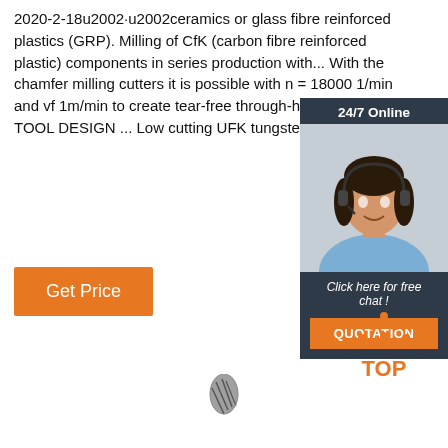2020-2-18u2002·u2002ceramics or glass fibre reinforced plastics (GRP). Milling of CfK (carbon fibre reinforced plastic) components in series production with... With the chamfer milling cutters it is possible with n = 18000 1/min and vf 1m/min to create tear-free through-holes bores TOOL DESIGN ... Low cutting UFK tungsten carbide.
[Figure (other): 24/7 Online customer support chat widget with woman wearing headset, 'Click here for free chat!' text, and QUOTATION button]
Get Price
[Figure (other): TOP badge with dotted triangle above the word TOP in orange]
[Figure (other): Milling tool / cutting tool image at bottom center]